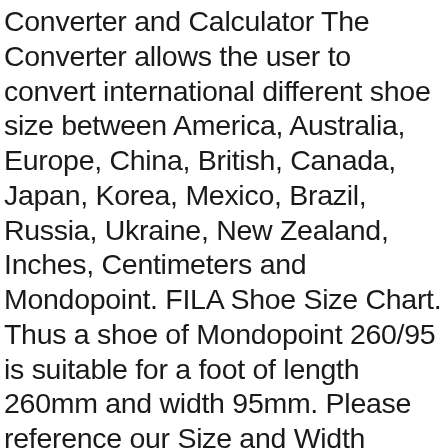Converter and Calculator The Converter allows the user to convert international different shoe size between America, Australia, Europe, China, British, Canada, Japan, Korea, Mexico, Brazil, Russia, Ukraine, New Zealand, Inches, Centimeters and Mondopoint. FILA Shoe Size Chart. Thus a shoe of Mondopoint 260/95 is suitable for a foot of length 260mm and width 95mm. Please reference our Size and Width conversion charts below. Birkenstock products are offered in European sizes. Inov8, Roadtalon 240 Running Shoes Women's Size 8 M . Celebrity Shoe Sizes. Use a sizing chart to determine your size. Skip to content . The boot is the most important part of the skater's equipment. Picture Information. Inov-8 Women's Roadtalon 240 Running Shoe 3.1 out of 5 stars 9. A shoe size is an indication of the fitting size of a shoe for a person. In order to navigate out of this carousel please use your heading shortcut key to navigate to the next or previous